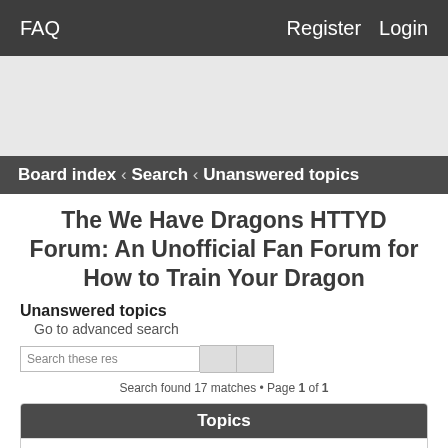FAQ  Register  Login
Board index ‹ Search ‹ Unanswered topics
The We Have Dragons HTTYD Forum: An Unofficial Fan Forum for How to Train Your Dragon
Unanswered topics
Go to advanced search
Search these res
Search found 17 matches • Page 1 of 1
Topics
Creative Wall - Post Your